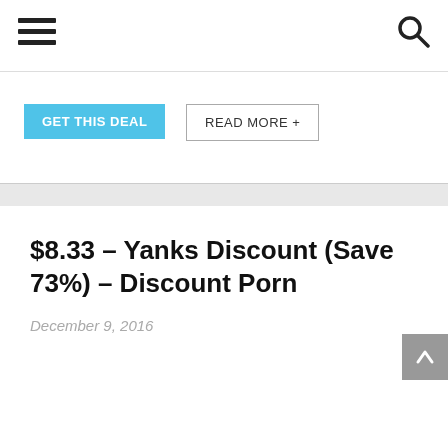☰  🔍
GET THIS DEAL   READ MORE +
$8.33 – Yanks Discount (Save 73%) – Discount Porn
December 9, 2016